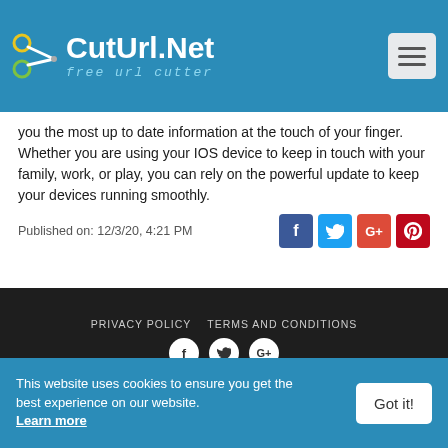CutUrl.Net - free url cutter
you the most up to date information at the touch of your finger. Whether you are using your IOS device to keep in touch with your family, work, or play, you can rely on the powerful update to keep your devices running smoothly.
Published on: 12/3/20, 4:21 PM
PRIVACY POLICY   TERMS AND CONDITIONS
Copyright © CutUrl.net - Free URL Cutter 2022
This website uses cookies to ensure you get the best experience on our website. Learn more